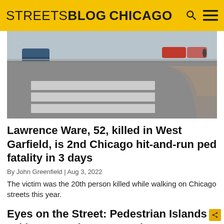STREETSBLOG CHICAGO
[Figure (photo): Aerial view of a crosswalk intersection showing zebra crossing stripes on pavement, with a car and pedestrian visible in the background.]
Lawrence Ware, 52, killed in West Garfield, is 2nd Chicago hit-and-run ped fatality in 3 days
By John Greenfield | Aug 3, 2022
The victim was the 20th person killed while walking on Chicago streets this year.
Eyes on the Street: Pedestrian Islands Taking a Beating From Drivers
By John Greenfield | Apr 3, 2014
Pedestrian islands and crosswalks are a constant source of...